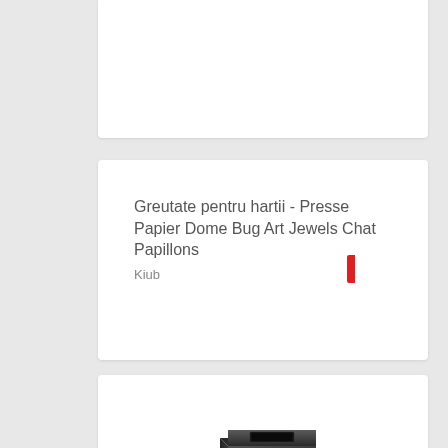[Figure (other): Partial white card at top of page, content not visible]
Greutate pentru hartii - Presse Papier Dome Bug Art Jewels Chat Papillons
Kiub
[Figure (photo): Product photo of a black book/folder paperweight item on white background]